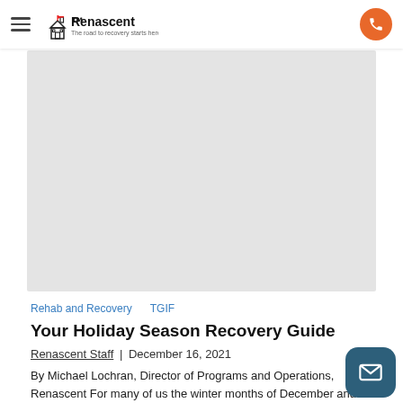Renascent — The road to recovery starts here.
[Figure (photo): Hero image placeholder (light gray rectangle)]
Rehab and Recovery   TGIF
Your Holiday Season Recovery Guide
Renascent Staff | December 16, 2021
By Michael Lochran, Director of Programs and Operations, Renascent For many of us the winter months of December and January bring with them